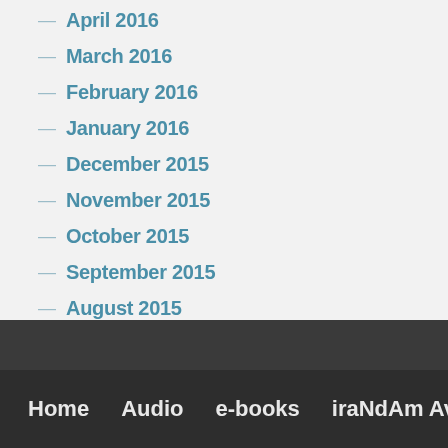— April 2016
— March 2016
— February 2016
— January 2016
— December 2015
— November 2015
— October 2015
— September 2015
— August 2015
— July 2015
— June 2015
— May 2015
— April 2015
— March 2015
— February 2015
— January 2015
— December 2014
— November 2014
Home   Audio   e-books   iraNdAm Aviram –